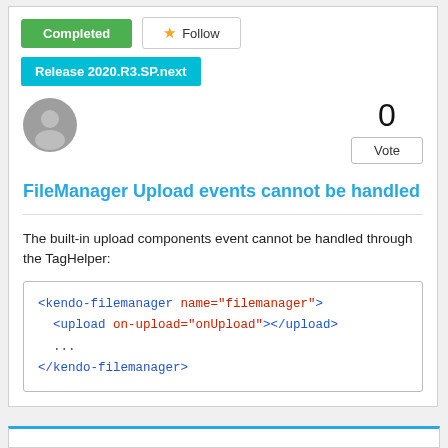[Figure (other): Green 'Completed' status button and 'Follow' button with star icon]
[Figure (other): Cyan/teal release tag: Release 2020.R3.SP.next]
[Figure (other): Gray user avatar icon (circle with person silhouette) and vote count 0 with Vote button]
FileManager Upload events cannot be handled
The built-in upload components event cannot be handled through the TagHelper:
<kendo-filemanager name="filemanager">
  <upload on-upload="onUpload"></upload>
  ...
</kendo-filemanager>